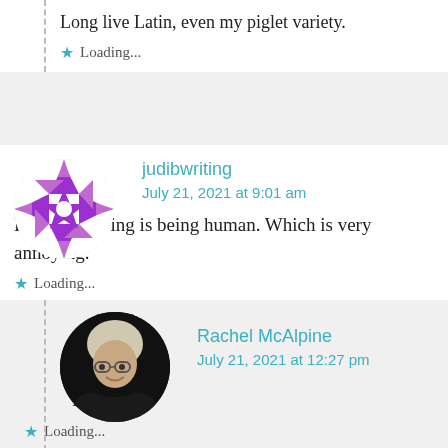Long live Latin, even my piglet variety.
★ Loading...
[Figure (illustration): Purple geometric snowflake/mandala avatar for user judibwriting]
judibwriting
July 21, 2021 at 9:01 am
Being annoying is being human. Which is very annoying.
★ Loading...
[Figure (photo): Circular profile photo of elderly woman with white hair and glasses, Rachel McAlpine]
Rachel McAlpine
July 21, 2021 at 12:27 pm
Haha!
★ Loading...